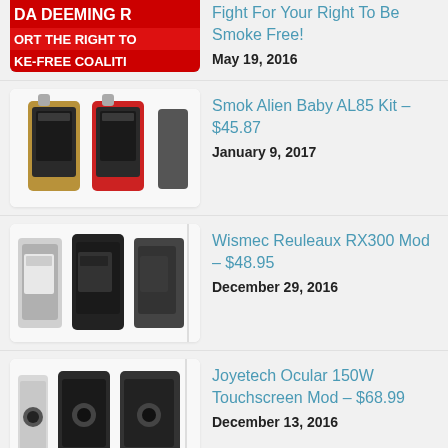[Figure (photo): Partially cropped banner image with red text reading 'DA DEEMING R', 'ORT THE RIGHT TO', 'KE-FREE COALITI']
Fight For Your Right To Be Smoke Free!
May 19, 2016
[Figure (photo): Two vaping devices/mods with tanks - Smok Alien Baby AL85 Kit, shown in gold/black and red/black colorways]
Smok Alien Baby AL85 Kit – $45.87
January 9, 2017
[Figure (photo): Three large box mods side by side - Wismec Reuleaux RX300 Mod in silver and black variants]
Wismec Reuleaux RX300 Mod – $48.95
December 29, 2016
[Figure (photo): Three Joyetech Ocular 150W Touchscreen Mods in silver, black, and another colorway]
Joyetech Ocular 150W Touchscreen Mod – $68.99
December 13, 2016
[Figure (photo): Partially visible product image at bottom of page - appears to be vaping devices in pink/rose and black]